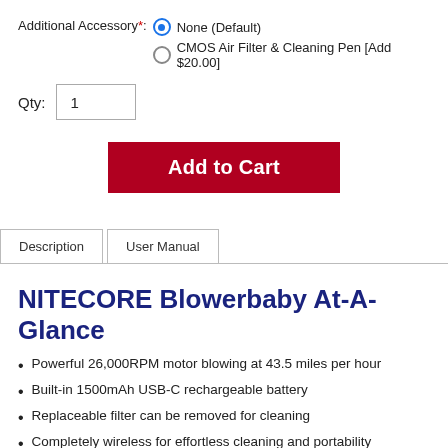Additional Accessory*: None (Default) | CMOS Air Filter & Cleaning Pen [Add $20.00]
Qty: 1
Add to Cart
Description | User Manual
NITECORE Blowerbaby At-A-Glance
Powerful 26,000RPM motor blowing at 43.5 miles per hour
Built-in 1500mAh USB-C rechargeable battery
Replaceable filter can be removed for cleaning
Completely wireless for effortless cleaning and portability
Constructed from aerospace grade aluminum alloy